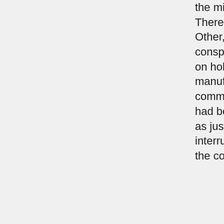the military jail at Theresienstadt. Other, grownup, conspirators did later on hold. A next cell, manufactured up of community Serbs, had been set in area as just one of various interruptions to blur the conspiracy's